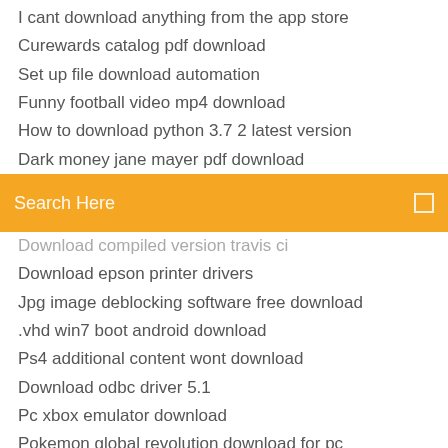I cant download anything from the app store
Curewards catalog pdf download
Set up file download automation
Funny football video mp4 download
How to download python 3.7 2 latest version
Dark money jane mayer pdf download
[Figure (screenshot): Orange search bar with text 'Search Here' and a small square icon on the right]
Download compiled version travis ci
Download epson printer drivers
Jpg image deblocking software free download
.vhd win7 boot android download
Ps4 additional content wont download
Download odbc driver 5.1
Pc xbox emulator download
Pokemon global revolution download for pc
How to turn web download into app
My phone wont let me download any apps
Freelancer void mod download